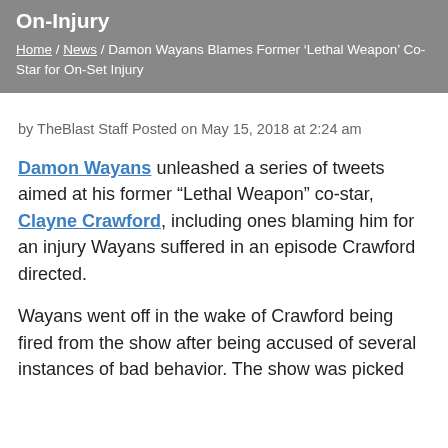On-Injury
Home / News / Damon Wayans Blames Former ‘Lethal Weapon’ Co-Star for On-Set Injury
by TheBlast Staff Posted on May 15, 2018 at 2:24 am
Damon Wayans unleashed a series of tweets aimed at his former “Lethal Weapon” co-star, Clayne Crawford, including ones blaming him for an injury Wayans suffered in an episode Crawford directed.
Wayans went off in the wake of Crawford being fired from the show after being accused of several instances of bad behavior. The show was picked